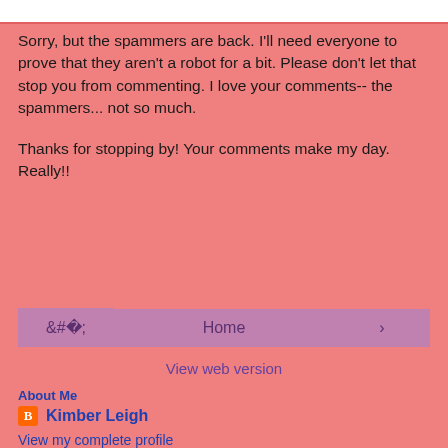Sorry, but the spammers are back. I'll need everyone to prove that they aren't a robot for a bit. Please don't let that stop you from commenting. I love your comments-- the spammers... not so much.

Thanks for stopping by! Your comments make my day. Really!!
[Figure (other): Navigation buttons: left arrow, Home, right arrow]
View web version
About Me
Kimber Leigh
View my complete profile